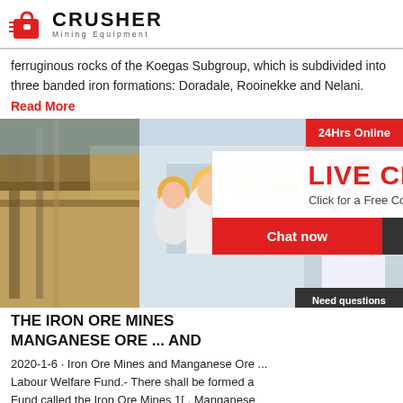CRUSHER Mining Equipment
ferruginous rocks of the Koegas Subgroup, which is subdivided into three banded iron formations: Doradale, Rooinekke and Nelani.
Read More
[Figure (photo): Mining equipment/industrial scene on left, workers in yellow hard hats in center, live chat popup overlay with 'LIVE CHAT Click for a Free Consultation' and Chat now/Chat later buttons, woman with headset on right sidebar]
THE IRON ORE MINES MANGANESE ORE ... AND
2020-1-6 · Iron Ore Mines and Manganese Ore ... Labour Welfare Fund.- There shall be formed a Fund called the Iron Ore Mines 1[ , Manganese Ore Mines, Chrome Ore Mines Labour Welfare] Fund, and the credited thereto-- (a) an amount which the Central Government may, after due appropriation made by ...